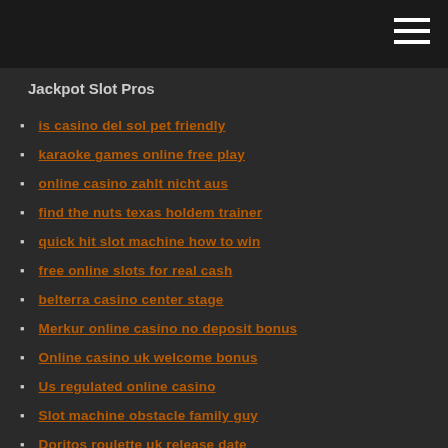Jackpot Slot Pros
is casino del sol pet friendly
karaoke games online free play
online casino zahlt nicht aus
find the nuts texas holdem trainer
quick hit slot machine how to win
free online slots for real cash
belterra casino center stage
Merkur online casino no deposit bonus
Online casino uk welcome bonus
Us regulated online casino
Slot machine obstacle family guy
Doritos roulette uk release date